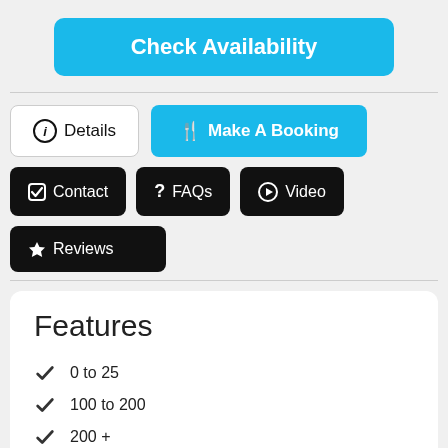Check Availability
Details
Make A Booking
Contact
FAQs
Video
Reviews
Features
0 to 25
100 to 200
200 +
25 to 50